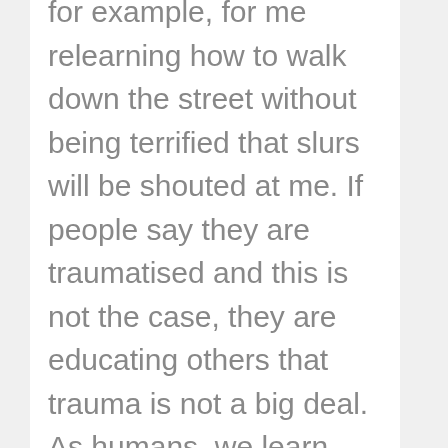for example, for me relearning how to walk down the street without being terrified that slurs will be shouted at me. If people say they are traumatised and this is not the case, they are educating others that trauma is not a big deal. As humans, we learn through observing as well as hearing people's experiences. Those who have not dealt with traumatic events will not be able to describe its impact correctly and therefore, the public opinion around trauma is affected. People begin to think such and such dealt with trauma and she is doing absolutely fine or even, they begin categorising